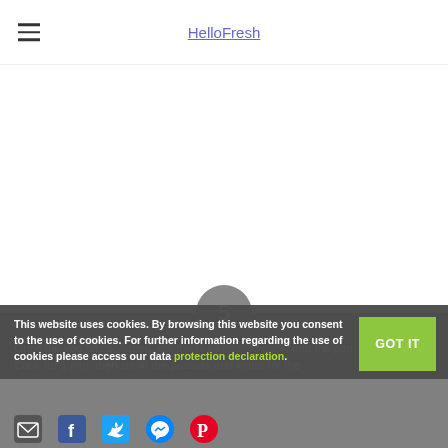HelloFresh
[Figure (logo): HelloFresh logo text in blue/purple underlined link style]
Curry Up
[Figure (photo): Large white/empty image area for food photo]
5
Once the veg has softened, stir the tikka pas... garlic into the pan. Cook for 1 min, then stir in the passata and water for the
This website uses cookies. By browsing this website you consent to the use of cookies. For further information regarding the use of cookies please access our data protection declaration.
[Figure (other): Social sharing icons: email, Facebook, Twitter, Messenger, Pinterest]